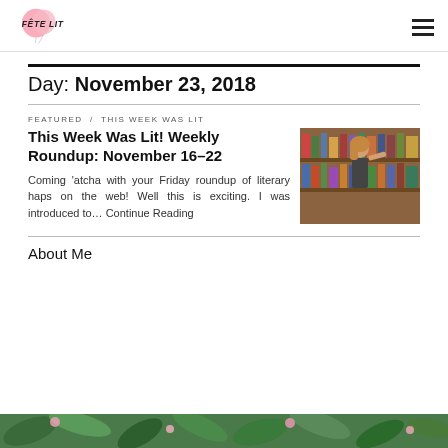FÊTE LIT
Day: November 23, 2018
FEATURED / THIS WEEK WAS LIT
This Week Was Lit! Weekly Roundup: November 16–22
[Figure (photo): Woman browsing books on library shelves]
Coming 'atcha with your Friday roundup of literary haps on the web! Well this is exciting. I was introduced to… Continue Reading
About Me
[Figure (photo): Decorative botanical bottom banner image]